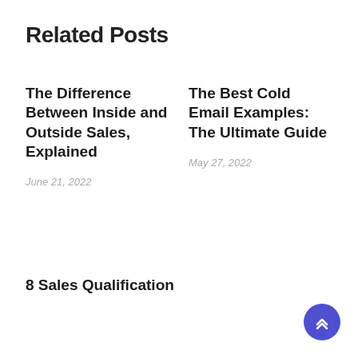Related Posts
The Difference Between Inside and Outside Sales, Explained
June 21, 2022
The Best Cold Email Examples: The Ultimate Guide
May 27, 2022
8 Sales Qualification